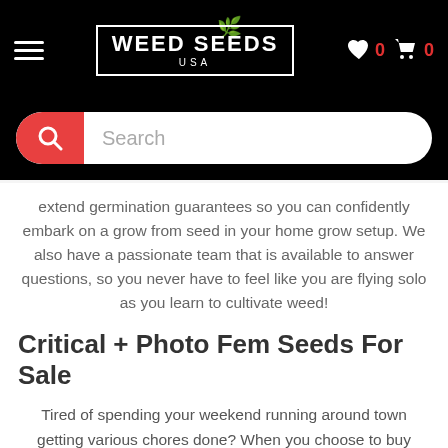WEED SEEDS USA — navigation header with hamburger menu, heart icon (0), cart icon (0)
[Figure (screenshot): Search bar with red search button and placeholder text 'Search']
extend germination guarantees so you can confidently embark on a grow from seed in your home grow setup. We also have a passionate team that is available to answer questions, so you never have to feel like you are flying solo as you learn to cultivate weed!
Critical + Photo Fem Seeds For Sale
Tired of spending your weekend running around town getting various chores done? When you choose to buy Critical + Photo Fem seeds online in the USA through Weed Seeds, you can cross off stocking up on your 420 flowers without leaving your couch. Our virtual shopping experience is simple and safe and can be done with a few clicks on your device. We charge a small delivery fee for